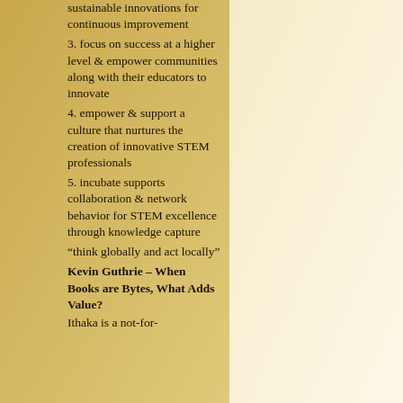sustainable innovations for continuous improvement
3. focus on success at a higher level & empower communities along with their educators to innovate
4. empower & support a culture that nurtures the creation of innovative STEM professionals
5. incubate supports collaboration & network behavior for STEM excellence through knowledge capture
“think globally and act locally”
Kevin Guthrie – When Books are Bytes, What Adds Value?
Ithaka is a not-for-